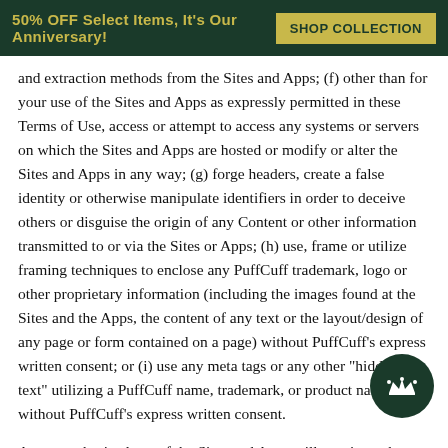50% OFF Select Items, It's Our Anniversary! SHOP COLLECTION
and extraction methods from the Sites and Apps; (f) other than for your use of the Sites and Apps as expressly permitted in these Terms of Use, access or attempt to access any systems or servers on which the Sites and Apps are hosted or modify or alter the Sites and Apps in any way; (g) forge headers, create a false identity or otherwise manipulate identifiers in order to deceive others or disguise the origin of any Content or other information transmitted to or via the Sites or Apps; (h) use, frame or utilize framing techniques to enclose any PuffCuff trademark, logo or other proprietary information (including the images found at the Sites and the Apps, the content of any text or the layout/design of any page or form contained on a page) without PuffCuff's express written consent; or (i) use any meta tags or any other "hidden text" utilizing a PuffCuff name, trademark, or product name without PuffCuff's express written consent.
Any unauthorized use of the Sites and Apps will terminate the permission or license granted by these Terms of Use, will result in you being barred from use of the Sites and Apps, and may violate applicable laws, including copyright laws, trademark laws (including trade dress), and electronic communications regulations and statutes.